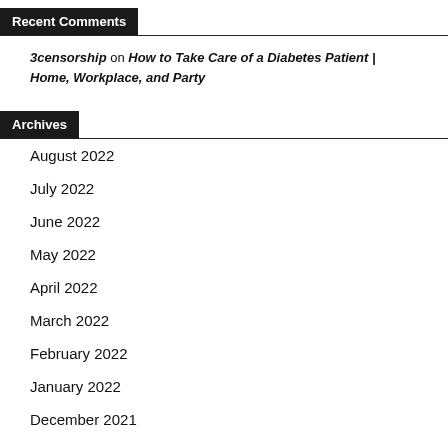Recent Comments
3censorship on How to Take Care of a Diabetes Patient | Home, Workplace, and Party
Archives
August 2022
July 2022
June 2022
May 2022
April 2022
March 2022
February 2022
January 2022
December 2021